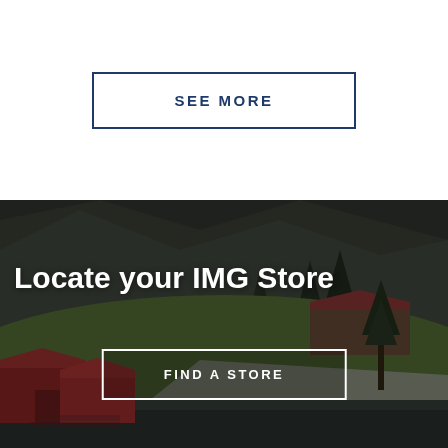SEE MORE
[Figure (photo): Scenic landscape photograph showing red wooden barn buildings beside a dark lake, with green meadows, conifer trees, and rocky mountains in the background. Dark moody tones.]
Locate your IMG Store
FIND A STORE